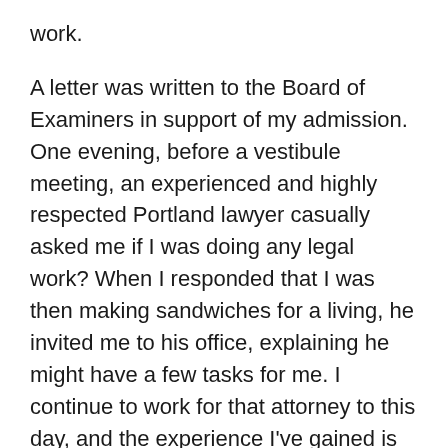work.
A letter was written to the Board of Examiners in support of my admission. One evening, before a vestibule meeting, an experienced and highly respected Portland lawyer casually asked me if I was doing any legal work? When I responded that I was then making sandwiches for a living, he invited me to his office, explaining he might have a few tasks for me. I continue to work for that attorney to this day, and the experience I've gained is frankly of immeasurable value to me. These were not merits earned, but gifts freely given by members of The Other Bar. The Other Bar has helped me to dramatically shift my perspective about addiction, life, and the legal profession. It illuminated a path that was once little more than an unrealistic abstraction.
I don't know what the future holds for me, but as I move forward, sharing the fellowship of The Other Bar is an